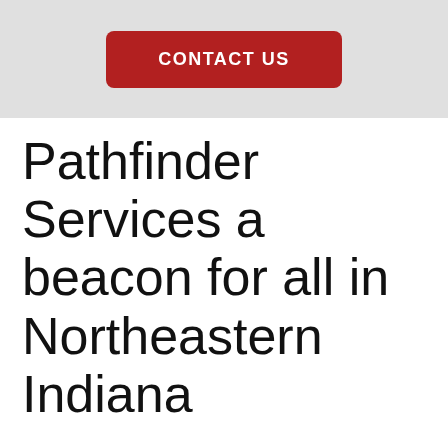CONTACT US
Pathfinder Services a beacon for all in Northeastern Indiana
With a population at about 20,000 people, Huntington may seem like just another Northern Indiana small town. Perhaps one